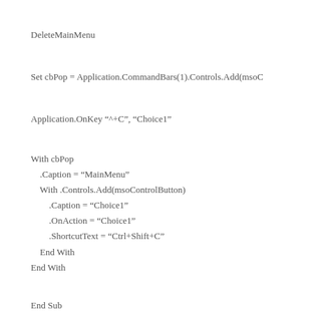DeleteMainMenu
Set cbPop = Application.CommandBars(1).Controls.Add(msoC
Application.OnKey "^+C", "Choice1"
With cbPop
    .Caption = "MainMenu"
    With .Controls.Add(msoControlButton)
        .Caption = "Choice1"
        .OnAction = "Choice1"
        .ShortcutText = "Ctrl+Shift+C"
    End With
End With
End Sub